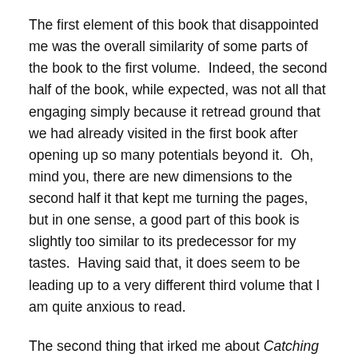The first element of this book that disappointed me was the overall similarity of some parts of the book to the first volume.  Indeed, the second half of the book, while expected, was not all that engaging simply because it retread ground that we had already visited in the first book after opening up so many potentials beyond it.  Oh, mind you, there are new dimensions to the second half it that kept me turning the pages, but in one sense, a good part of this book is slightly too similar to its predecessor for my tastes.  Having said that, it does seem to be leading up to a very different third volume that I am quite anxious to read.
The second thing that irked me about Catching Fire was the apparent change in Katniss.  In The Hunger Games we met a strong, intelligent young woman who saw plots and conspiracies among her colleagues at every turn.  In